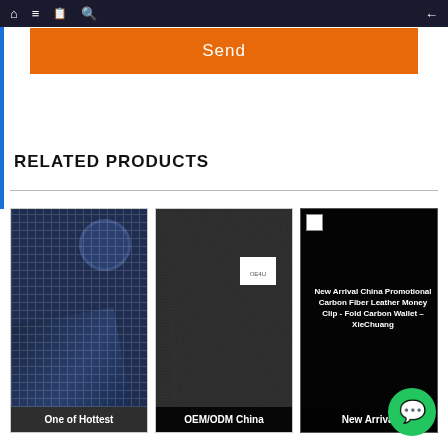Navigation bar with home, menu, document, search icons and back arrow
[Figure (screenshot): Orange Send button]
RELATED PRODUCTS
[Figure (photo): Product card 1: carbon fiber sheet with circle swatch, label: One of Hottest]
[Figure (photo): Product card 2: dark leather/carbon fiber sheet with small white label, label: OEM/ODM China]
[Figure (photo): Product card 3: New Arrival China Promotional Carbon Fiber Leather Money Clip - Fold Carbon Wallet – XieChuang, label: New Arrival]